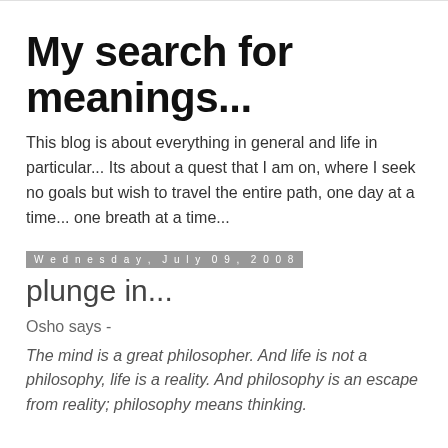My search for meanings...
This blog is about everything in general and life in particular... Its about a quest that I am on, where I seek no goals but wish to travel the entire path, one day at a time... one breath at a time...
Wednesday, July 09, 2008
plunge in...
Osho says -
The mind is a great philosopher. And life is not a philosophy, life is a reality. And philosophy is an escape from reality; philosophy means thinking.